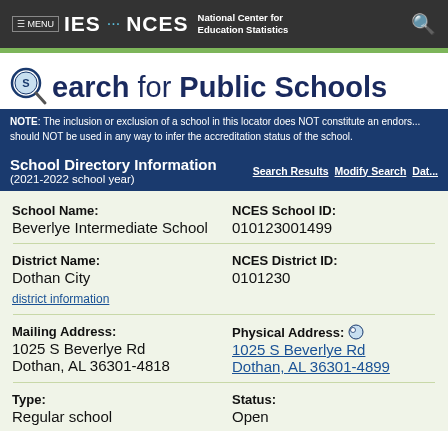≡ MENU  IES · NCES National Center for Education Statistics
Search for Public Schools
NOTE: The inclusion or exclusion of a school in this locator does NOT constitute an endorsement and should NOT be used in any way to infer the accreditation status of the school.
School Directory Information (2021-2022 school year)
| Field | Value |
| --- | --- |
| School Name: | Beverlye Intermediate School |
| NCES School ID: | 010123001499 |
| District Name: | Dothan City |
| NCES District ID: | 0101230 |
| Mailing Address: | 1025 S Beverlye Rd
Dothan, AL 36301-4818 |
| Physical Address: | 1025 S Beverlye Rd
Dothan, AL 36301-4899 |
| Type: | Regular school |
| Status: | Open |